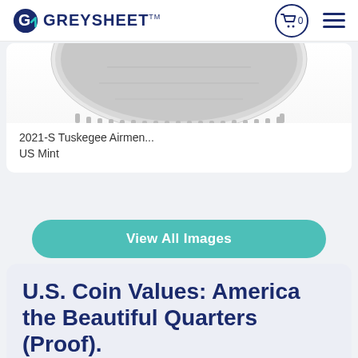GREYSHEET™
[Figure (photo): Bottom portion of a coin (2021-S Tuskegee Airmen quarter), showing reeded edge and lower design portion in greyscale]
2021-S Tuskegee Airmen...
US Mint
View All Images
U.S. Coin Values: America the Beautiful Quarters (Proof).
About 2021-S Tuskegee Airmen